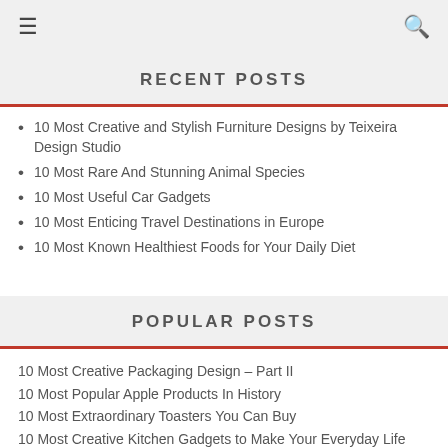≡  🔍
RECENT POSTS
10 Most Creative and Stylish Furniture Designs by Teixeira Design Studio
10 Most Rare And Stunning Animal Species
10 Most Useful Car Gadgets
10 Most Enticing Travel Destinations in Europe
10 Most Known Healthiest Foods for Your Daily Diet
POPULAR POSTS
10 Most Creative Packaging Design – Part II
10 Most Popular Apple Products In History
10 Most Extraordinary Toasters You Can Buy
10 Most Creative Kitchen Gadgets to Make Your Everyday Life